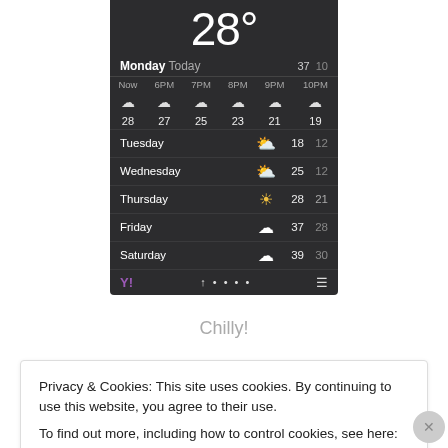[Figure (screenshot): Weather app screenshot showing 28° temperature for Monday with hourly forecast (Now through 10PM) and 5-day forecast (Tuesday through Saturday). Shows cloudy conditions with temperatures ranging from 19-28 for Monday hourly. Week forecast: Tuesday 18/12, Wednesday 25/12, Thursday 28/21, Friday 37/28, Saturday 39/30. Yahoo Weather app bar at bottom.]
Chilly!
Privacy & Cookies: This site uses cookies. By continuing to use this website, you agree to their use.
To find out more, including how to control cookies, see here: Cookie Policy